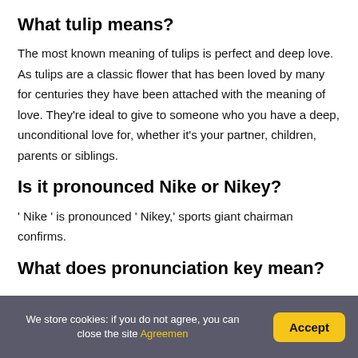What tulip means?
The most known meaning of tulips is perfect and deep love. As tulips are a classic flower that has been loved by many for centuries they have been attached with the meaning of love. They're ideal to give to someone who you have a deep, unconditional love for, whether it's your partner, children, parents or siblings.
Is it pronounced Nike or Nikey?
' Nike ' is pronounced ' Nikey,' sports giant chairman confirms.
What does pronunciation key mean?
We store cookies: if you do not agree, you can close the site Agreemen